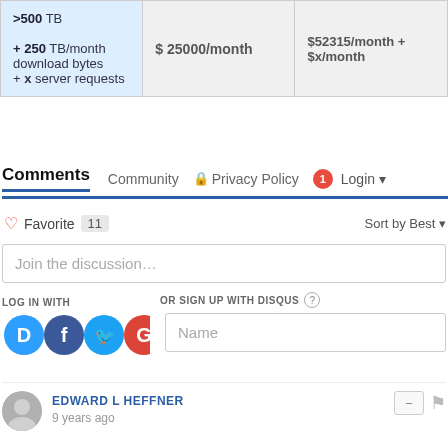| Storage | Price (mid) | Price (right) |
| --- | --- | --- |
| >500 TB
+ 250 TB/month download bytes
+ x server requests | $ 25000/month | $52315/month +
$x/month |
Comments  Community  Privacy Policy  1  Login
Favorite 11   Sort by Best
Join the discussion…
LOG IN WITH
OR SIGN UP WITH DISQUS ?
Name
EDWARD L HEFFNER
9 years ago